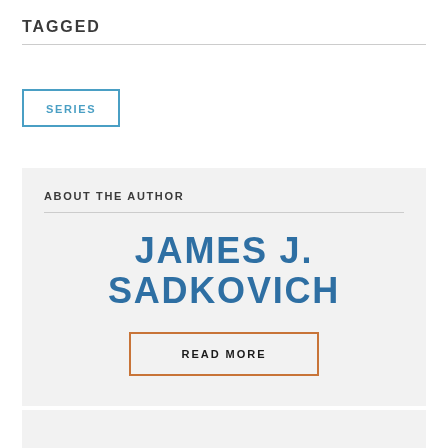TAGGED
SERIES
ABOUT THE AUTHOR
JAMES J. SADKOVICH
READ MORE